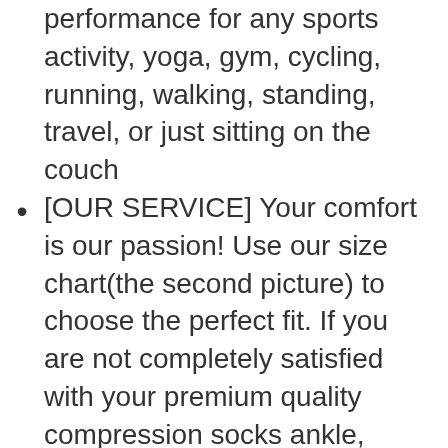performance for any sports activity, yoga, gym, cycling, running, walking, standing, travel, or just sitting on the couch
[OUR SERVICE] Your comfort is our passion! Use our size chart(the second picture) to choose the perfect fit. If you are not completely satisfied with your premium quality compression socks ankle, return them for a full refund or replacement. No questions asked. We stand behind the quality of our compression low cut socks with